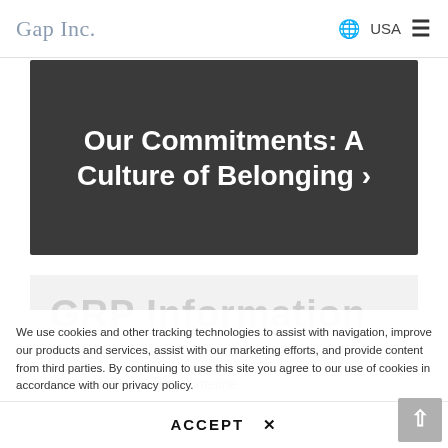Gap Inc. | USA
Our Commitments: A Culture of Belonging ›
GRP Information
checkout the program timeline and useful resources:
We use cookies and other tracking technologies to assist with navigation, improve our products and services, assist with our marketing efforts, and provide content from third parties. By continuing to use this site you agree to our use of cookies in accordance with our privacy policy.
Learn More
ACCEPT ×
TIMELINE FROM